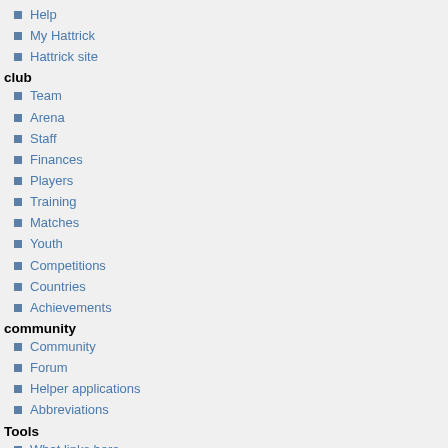Help
My Hattrick
Hattrick site
club
Team
Arena
Staff
Finances
Players
Training
Matches
Youth
Competitions
Countries
Achievements
community
Community
Forum
Helper applications
Abbreviations
Tools
What links here
Related changes
Special pages
Printable version